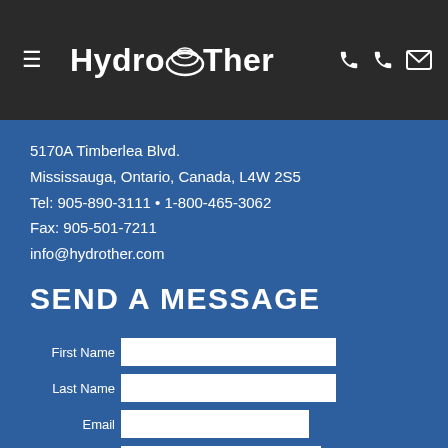[Figure (logo): HydroTher company logo with swirl graphic on dark header bar, plus hamburger menu icon and phone/email icons]
5170A Timberlea Blvd.
Mississauga, Ontario, Canada, L4W 2S5
Tel: 905-890-3111 • 1-800-465-3062
Fax: 905-501-7211
info@hydrother.com
SEND A MESSAGE
First Name [input] Last Name [input] Email [input] Company [input]